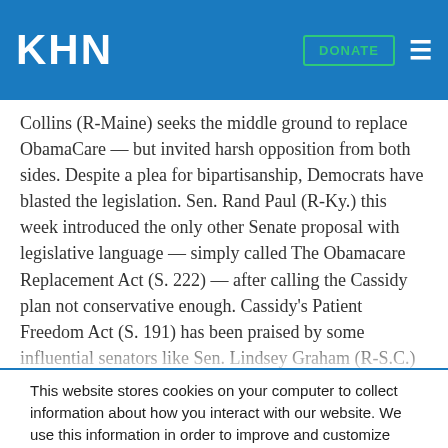KHN
Collins (R-Maine) seeks the middle ground to replace ObamaCare — but invited harsh opposition from both sides. Despite a plea for bipartisanship, Democrats have blasted the legislation. Sen. Rand Paul (R-Ky.) this week introduced the only other Senate proposal with legislative language — simply called The Obamacare Replacement Act (S. 222) — after calling the Cassidy plan not conservative enough. Cassidy's Patient Freedom Act (S. 191) has been praised by some influential senators like Sen. Lindsey Graham (R-S.C.) as a common sense alternative to ObamaCare, and has been gaining momentum with moderate Senate Republicans. (Weivel, 1/26)
This website stores cookies on your computer to collect information about how you interact with our website. We use this information in order to improve and customize your browsing experience and for analytics and metrics about our visitors both on this website and other media. To find out more about the cookies we use, see our Privacy Policy.